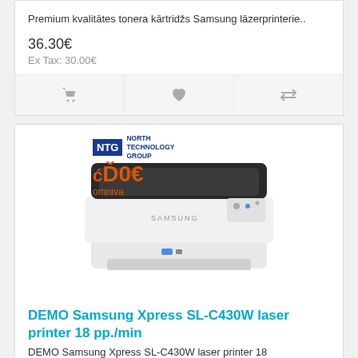Premium kvalitātes tonera kārtridžs Samsung lāzerprinterie..
36.30€
Ex Tax: 30.00€
[Figure (screenshot): Product card action buttons: shopping cart icon, heart/wishlist icon, compare icon]
[Figure (photo): Samsung Xpress SL-C430W laser printer with NTG North Technology Group badge and Omniva 0€ delivery badge]
DEMO Samsung Xpress SL-C430W laser printer 18 pp./min
DEMO Samsung Xpress SL-C430W laser printer 18 pp./min.Sams..
99.00€
Ex Tax: 81.82€